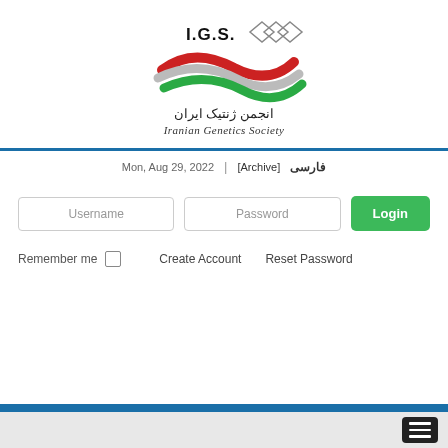[Figure (logo): Iranian Genetics Society (I.G.S.) logo with stylized swoosh in red, silver, and green colors, text in Persian and English: انجمن ژنتیک ایران / Iranian Genetics Society]
Mon, Aug 29, 2022  |  [Archive]  فارسی
Username
Password
Login
Remember me  ☐  Create Account  Reset Password